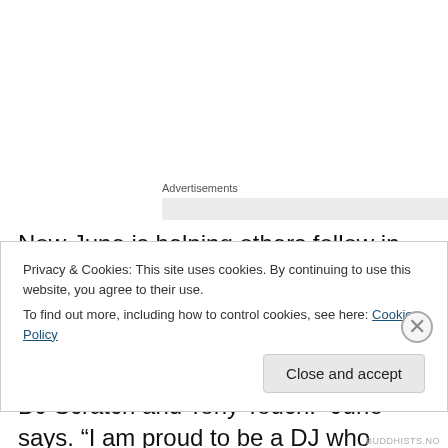Advertisements
Now June is helping others follow in her footsteps by hosting DJ seminars in Japanese in New York. “My goal is to continue to hone my skills and work all over the world like my colleagues DJ Scratch and Tony Touch.” June says. “I am proud to be a DJ who plays a wide variety of music. Many DJs are limited to playing only one style. I
Privacy & Cookies: This site uses cookies. By continuing to use this website, you agree to their use.
To find out more, including how to control cookies, see here: Cookie Policy
Close and accept
BUDDHISTS.NO